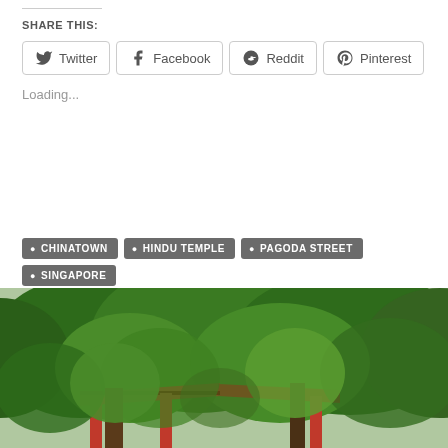SHARE THIS:
Twitter  Facebook  Reddit  Pinterest
Loading...
CHINATOWN
HINDU TEMPLE
PAGODA STREET
SINGAPORE
SINGAPORE'S CHINATOWN
SRI MARIAMMAN TEMPLE
[Figure (photo): Outdoor photo showing lush green trees with red-roofed pavilion structure and red columns visible beneath canopy]